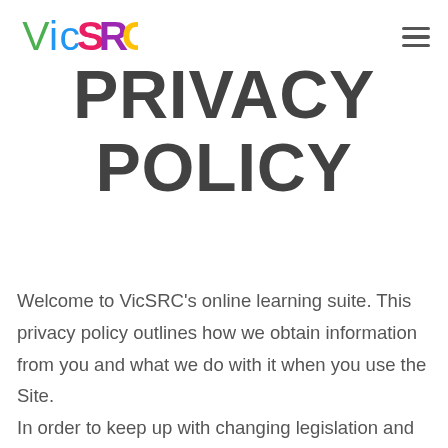VicSRC
PRIVACY POLICY
Welcome to VicSRC's online learning suite. This privacy policy outlines how we obtain information from you and what we do with it when you use the Site.
In order to keep up with changing legislation and best practice, we may make changes to this